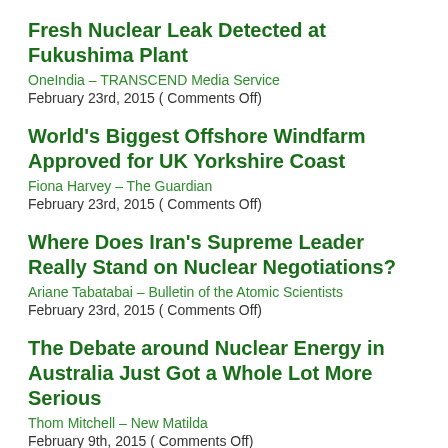Fresh Nuclear Leak Detected at Fukushima Plant
OneIndia – TRANSCEND Media Service
February 23rd, 2015 ( Comments Off)
World's Biggest Offshore Windfarm Approved for UK Yorkshire Coast
Fiona Harvey – The Guardian
February 23rd, 2015 ( Comments Off)
Where Does Iran's Supreme Leader Really Stand on Nuclear Negotiations?
Ariane Tabatabai – Bulletin of the Atomic Scientists
February 23rd, 2015 ( Comments Off)
The Debate around Nuclear Energy in Australia Just Got a Whole Lot More Serious
Thom Mitchell – New Matilda
February 9th, 2015 ( Comments Off)